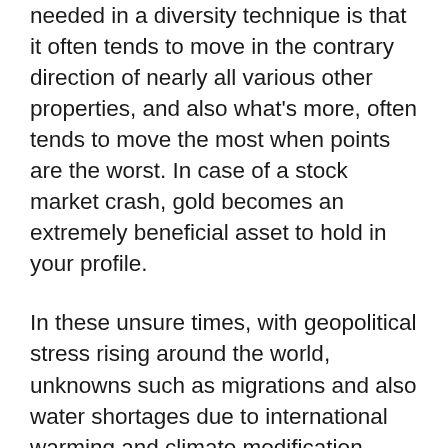needed in a diversity technique is that it often tends to move in the contrary direction of nearly all various other properties, and also what's more, often tends to move the most when points are the worst. In case of a stock market crash, gold becomes an extremely beneficial asset to hold in your profile.
In these unsure times, with geopolitical stress rising around the world, unknowns such as migrations and also water shortages due to international warming and climate modification, supply chain unpredictabilities due to a global pandemic, political instability, and also fears of a miscalculated securities market, gold is simply the very best to hedge versus every one of these